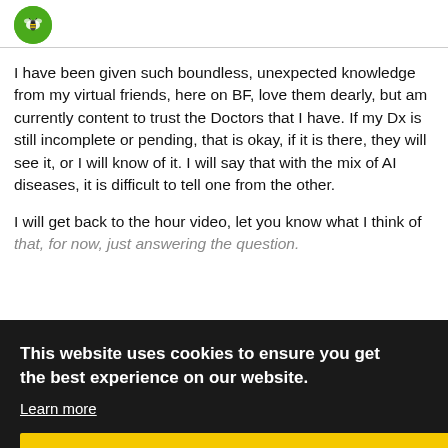BenzFriends logo header
I have been given such boundless, unexpected knowledge from my virtual friends, here on BF, love them dearly, but am currently content to trust the Doctors that I have. If my Dx is still incomplete or pending, that is okay, if it is there, they will see it, or I will know of it. I will say that with the mix of AI diseases, it is difficult to tell one from the other.
I will get back to the hour video, let you know what I think of that, for now, just answering the question.
This website uses cookies to ensure you get the best experience on our website. Learn more
Got it!
1 / 13